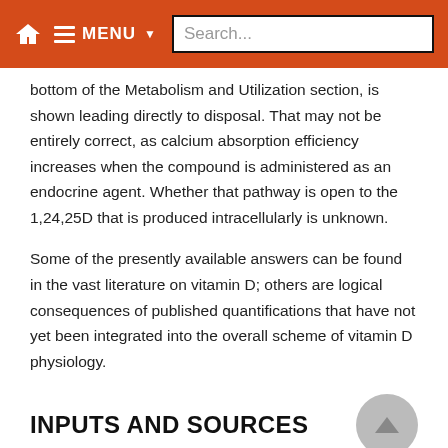Navigation bar with home icon, MENU, and Search...
bottom of the Metabolism and Utilization section, is shown leading directly to disposal. That may not be entirely correct, as calcium absorption efficiency increases when the compound is administered as an endocrine agent. Whether that pathway is open to the 1,24,25D that is produced intracellularly is unknown.
Some of the presently available answers can be found in the vast literature on vitamin D; others are logical consequences of published quantifications that have not yet been integrated into the overall scheme of vitamin D physiology.
INPUTS AND SOURCES
There are basically three sources of vitamin D; two of them are natural (food and sun), and one is artificial (supplements, including